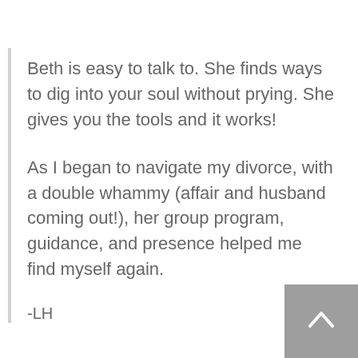Beth is easy to talk to. She finds ways to dig into your soul without prying. She gives you the tools and it works!
As I began to navigate my divorce, with a double whammy (affair and husband coming out!), her group program, guidance, and presence helped me find myself again.
-LH
I would 100% recommend her. It's really simple for me: I feel better... And I want to continue to feel better. Work with Beth has allowed me to tap into areas of my life I didn't even know existed, and